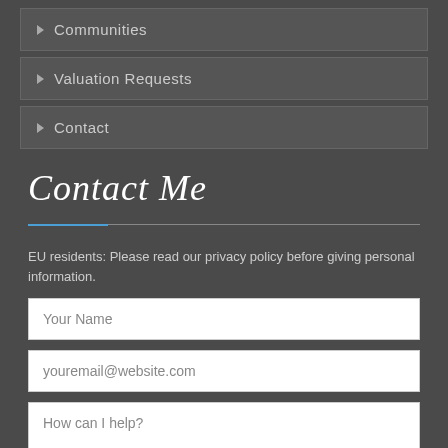Communities
Valuation Requests
Contact
Contact Me
EU residents: Please read our privacy policy before giving personal information.
Your Name
youremail@website.com
How can I help?